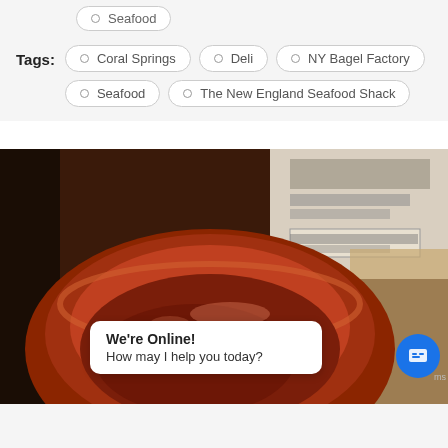Seafood
Tags:
Coral Springs
Deli
NY Bagel Factory
Seafood
The New England Seafood Shack
[Figure (photo): Close-up photo of a round red/brown ceramic bowl containing food, with a restaurant menu board visible in the background. A chat widget overlay reads 'We're Online! How may I help you today?']